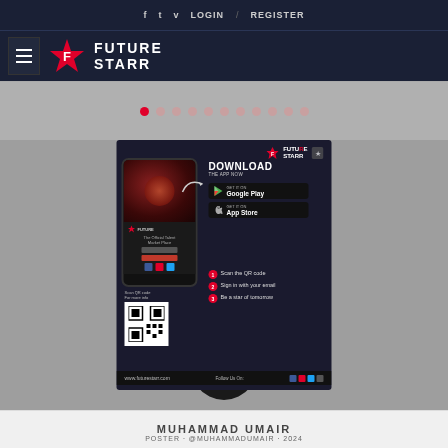f  t  v  LOGIN / REGISTER
[Figure (logo): FutureStarr logo with hamburger menu and star icon]
[Figure (screenshot): FutureStarr app download promotional popup overlay showing phone mockup, Google Play and App Store buttons, QR code, and steps to become a star]
[Figure (illustration): Robot mascot wearing FutureStarr cap, black ninja-style robot with red tie]
MUHAMMAD UMAIR